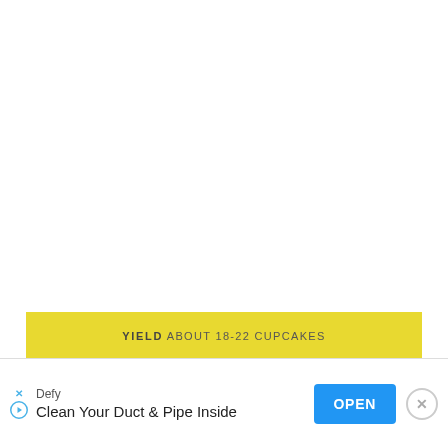YIELD ABOUT 18-22 CUPCAKES
INGRE